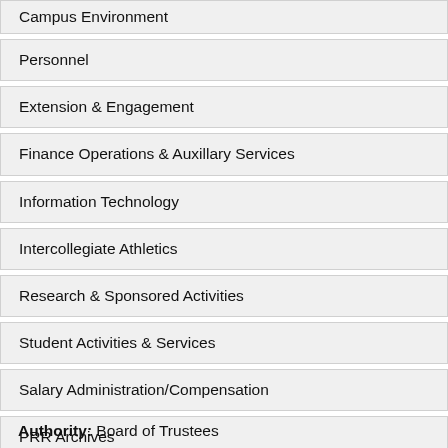Campus Environment
Personnel
Extension & Engagement
Finance Operations & Auxillary Services
Information Technology
Intercollegiate Athletics
Research & Sponsored Activities
Student Activities & Services
Salary Administration/Compensation
PRR Archives
Authority: Board of Trustees